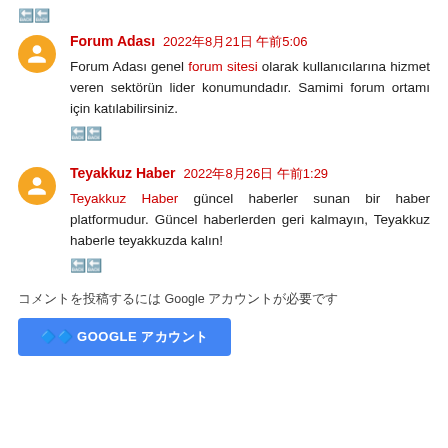🔁
Forum Adası 2022年8月21日 午前5:06
Forum Adası genel forum sitesi olarak kullanıcılarına hizmet veren sektörün lider konumundadır. Samimi forum ortamı için katılabilirsiniz.
🔁
Teyakkuz Haber 2022年8月26日 午前1:29
Teyakkuz Haber güncel haberler sunan bir haber platformudur. Güncel haberlerden geri kalmayın, Teyakkuz haberle teyakkuzda kalın!
🔁
コメントを投稿するには Google アカウントが必要です
🔷 GOOGLE アカウント